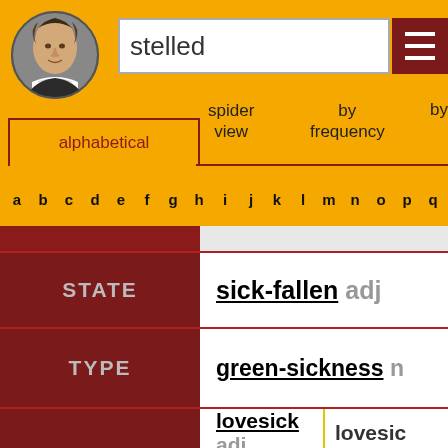[Figure (illustration): Circular portrait of William Shakespeare]
stelled
spider view
by frequency
by
alphabetical
a b c d e f g h i j k l m n o p q
|  |  |
| --- | --- |
| STATE | sick-fallen adj |
| TYPE | green-sickness n |
|  | lovesick adj | lovesic... |